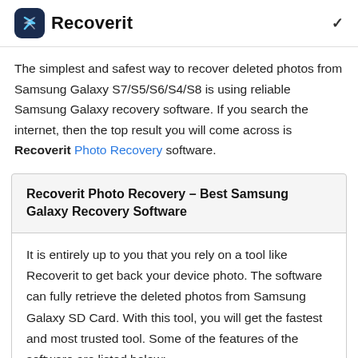Recoverit
The simplest and safest way to recover deleted photos from Samsung Galaxy S7/S5/S6/S4/S8 is using reliable Samsung Galaxy recovery software. If you search the internet, then the top result you will come across is Recoverit Photo Recovery software.
Recoverit Photo Recovery – Best Samsung Galaxy Recovery Software
It is entirely up to you that you rely on a tool like Recoverit to get back your device photo. The software can fully retrieve the deleted photos from Samsung Galaxy SD Card. With this tool, you will get the fastest and most trusted tool. Some of the features of the software are listed below: